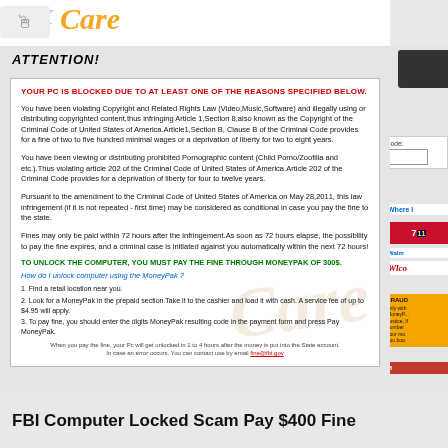[Figure (screenshot): Top banner of a website showing 'Care' in orange italic text with decorative elements]
ATTENTION!
YOUR PC IS BLOCKED DUE TO AT LEAST ONE OF THE REASONS SPECIFIED BELOW.
You have been violating Copyright and Related Rights Law (Video,Music,Software) and illegally using or distributing copyrighted content,thus infringing Article 1,Section 8,also known as the Copyright of the Criminal Code of United States of America.Article1,Section B, Clause B of the Criminal Code provides for a fine of two to five hundred minimal wages or a deprivation of liberty for two to eight years.
You have been viewing or distributing prohibited Pornographic content (Child Porno/Zoofilia and etc.).Thus violating article 202 of the Criminal Code of United States of America.Article 202 of the Criminal Code provides for a deprivation of liberty for four to twelve years.
Pursuant to the amendment to the Criminal Code of United States of America on May 28,2011, this law infringement (if it is not repeated - first time) may be considered as conditional in case you pay the fine to the state.
Fines may only be paid within 72 hours after the infringement.As soon as 72 hours elapse, the possibility to pay the fine expires, and a criminal case is initiated against you automatically within the next 72 hours!
TO UNLOCK THE COMPUTER, YOU MUST PAY THE FINE THROUGH MONEYPAK OF 300$.
How do I unlock computer using the MoneyPak ?
1. Find a retail location near you.
2. Look for a MoneyPak in the prepaid section.Take it to the cashier and load it with cash. A service fee of up to $4.95 will apply.
3. To pay fine, you should enter the digits MoneyPak resulting code in the payment form and press Pay MoneyPak.
When you pay the fine, your Pc will get unlocked in 1 to 4 hours after the money is put into the State account. In case an error occurs, You can contact use by email fine@fbi.gov
FBI Computer Locked Scam Pay $400 Fine